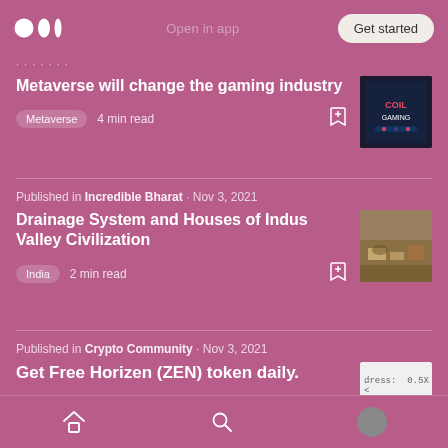Medium logo | Open in app | Get started
Metaverse will change the gaming industry
Metaverse  4 min read
Published in Incredible Bharat · Nov 3, 2021
Drainage System and Houses of Indus Valley Civilization
India  2 min read
Published in Crypto Community · Nov 3, 2021
Get Free Horizen (ZEN) token daily.
Home | Search | Profile